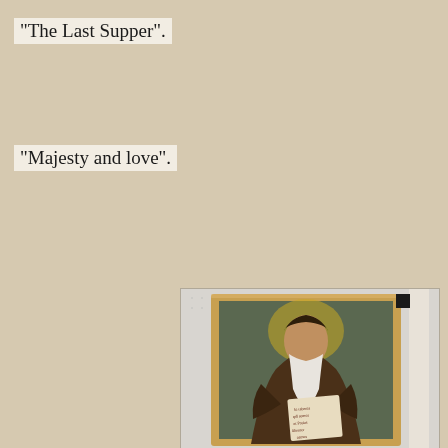"The Last Supper".
"Majesty and love".
[Figure (photo): A framed oil painting of a bearded elderly saint or apostle wearing a dark brown robe, with a golden halo, holding an open scroll or book with Latin text, displayed on a white pegboard surface with a ruler visible on the right side.]